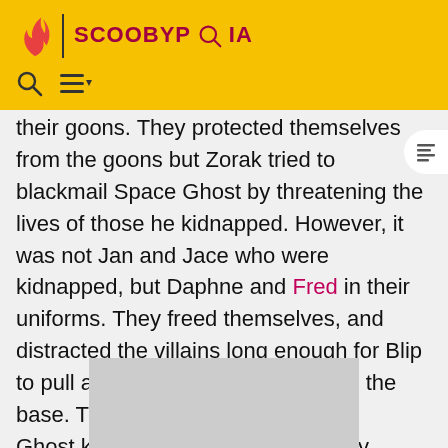SCOOBYPEDIA
their goons. They protected themselves from the goons but Zorak tried to blackmail Space Ghost by threatening the lives of those he kidnapped. However, it was not Jan and Jace who were kidnapped, but Daphne and Fred in their uniforms. They freed themselves, and distracted the villains long enough for Blip to pull a lever releasing lava across the base. They all escaped, and Space Ghost knocked out the villains. They traveled back to Earth, and re-modified the Mystery Machine back to normal.
[Figure (photo): Gray placeholder image block at the bottom of the page]